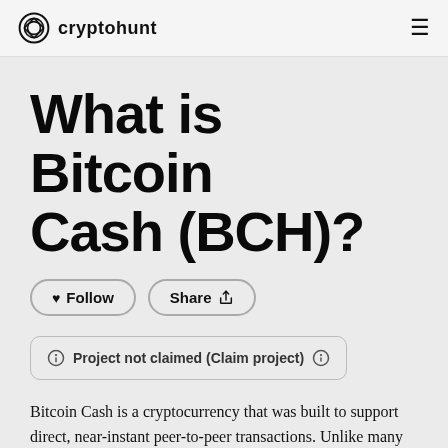cryptohunt
What is Bitcoin Cash (BCH)?
Follow   Share
Project not claimed (Claim project)
Bitcoin Cash is a cryptocurrency that was built to support direct, near-instant peer-to-peer transactions. Unlike many other cryptocurrencies, Bitcoin Cash is not programmable